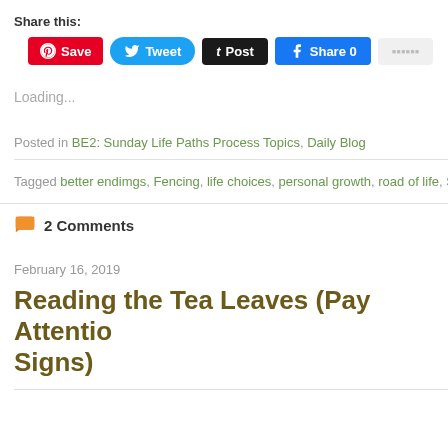Share this:
[Figure (screenshot): Social media share buttons: Save (Pinterest), Tweet (Twitter), Post (Tumblr), Share 0 (Facebook), and a partially visible button]
Loading...
Posted in BE2: Sunday Life Paths Process Topics, Daily Blog
Tagged better endimgs, Fencing, life choices, personal growth, road of life, Self-
2 Comments
February 16, 2019
Reading the Tea Leaves (Pay Attentio Signs)